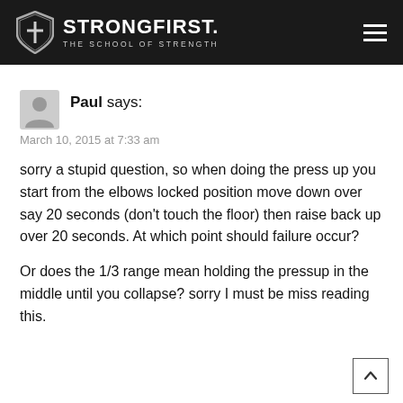StrongFirst. The School of Strength
Paul says:
March 10, 2015 at 7:33 am
sorry a stupid question, so when doing the press up you start from the elbows locked position move down over say 20 seconds (don't touch the floor) then raise back up over 20 seconds. At which point should failure occur?
Or does the 1/3 range mean holding the pressup in the middle until you collapse? sorry I must be miss reading this.